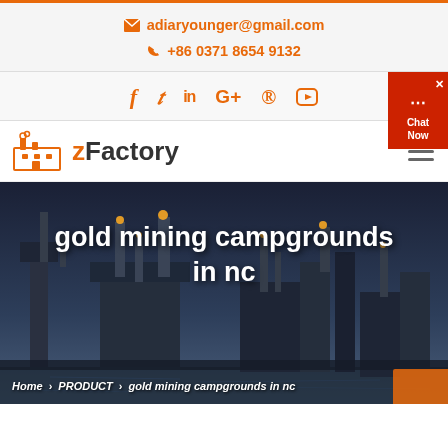adiaryounger@gmail.com  +86 0371 8654 9132
[Figure (logo): zFactory logo with orange factory icon]
gold mining campgrounds in nc
Home > PRODUCT > gold mining campgrounds in nc